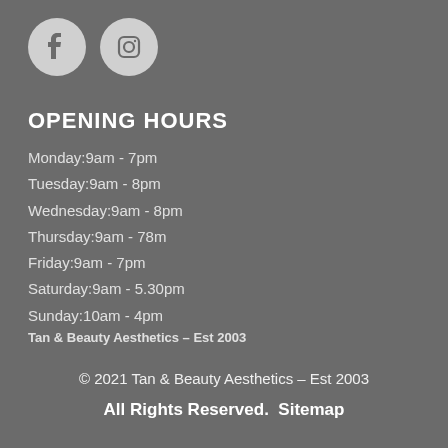[Figure (logo): Facebook and Instagram social media icons as white circles with logos]
OPENING HOURS
Monday:9am - 7pm
Tuesday:9am - 8pm
Wednesday:9am - 8pm
Thursday:9am - 78m
Friday:9am - 7pm
Saturday:9am - 5.30pm
Sunday:10am - 4pm
Tan & Beauty Aesthetics – Est 2003
© 2021 Tan & Beauty Aesthetics – Est 2003
All Rights Reserved.  Sitemap